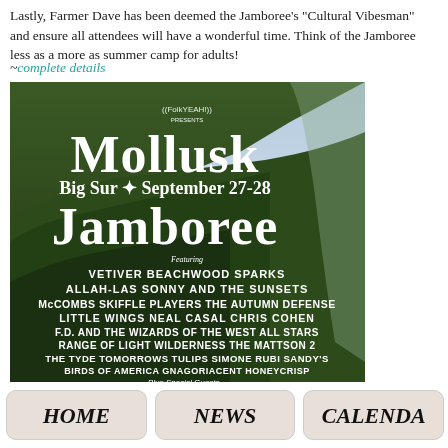Lastly, Farmer Dave has been deemed the Jamboree's 'Cultural Vibesman' and ensure all attendees will have a wonderful time. Think of the Jamboree less as a more as summer camp for adults!
~complete details
[Figure (photo): Poster for Mollusk Big Sur Jamboree, September 27-28, featuring mountain/coastal landscape background. Text lists performers: VETIVER, BEACHWOOD SPARKS, ALLAH-LAS, SONNY AND THE SUNSETS, McCOMBS SKIFFLE PLAYERS, THE AUTUMN DEFENSE, LITTLE WINGS, NEAL CASAL, CHRIS COHEN, F.D. AND THE WIZARDS OF THE WEST ALL STARS, RANGE OF LIGHT WILDERNESS, THE MATTSON 2, THE TYDE, TOMORROWS TULIPS, SIMONE RUBI, SANDY'S, BIRDS OF AMERICA, GNAGORIACENT, HONEYCRISP, Plus Special Guests. Two days of music, camping, surfing and fun. Fernwood Resort, Big Sur, California.]
HOME   NEWS   CALENDAR